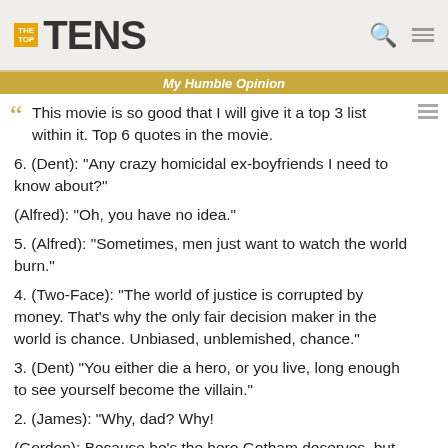TheTopTens
My Humble Opinion
This movie is so good that I will give it a top 3 list within it. Top 6 quotes in the movie.
6. (Dent): "Any crazy homicidal ex-boyfriends I need to know about?"
(Alfred): "Oh, you have no idea."
5. (Alfred): "Sometimes, men just want to watch the world burn."
4. (Two-Face): "The world of justice is corrupted by money. That's why the only fair decision maker in the world is chance. Unbiased, unblemished, chance."
3. (Dent) "You either die a hero, or you live, long enough to see yourself become the villain."
2. (James): "Why, dad? Why!
(Gordon): Because he's the hero Gotham deserves, but not the one it needs right now. So we'll hunt him, because we know he can take it. Because he's not our hero. He's a silent guardian, a watchful protector. A